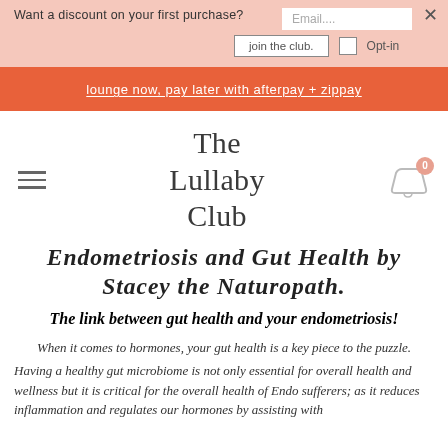Want a discount on your first purchase? Email.... join the club. Opt-in
lounge now, pay later with afterpay + zippay
[Figure (logo): The Lullaby Club logo in serif font with hamburger menu and cart icon]
Endometriosis and Gut Health by Stacey the Naturopath.
The link between gut health and your endometriosis!
When it comes to hormones, your gut health is a key piece to the puzzle.
Having a healthy gut microbiome is not only essential for overall health and wellness but it is critical for the overall health of Endo sufferers; as it reduces inflammation and regulates our hormones by assisting with